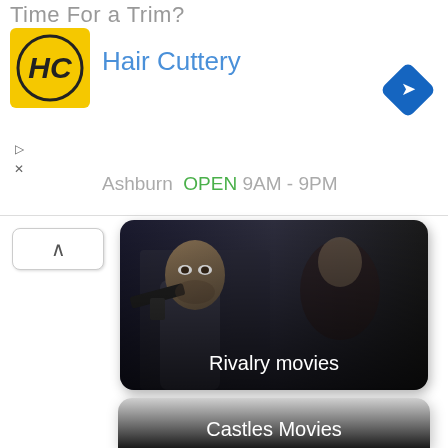[Figure (screenshot): Ad banner for Hair Cuttery showing logo and brand name with 'Time For a Trim?' tagline and navigation diamond icon]
[Figure (photo): Rivalry movies card: dark action-movie still of a man pointing a gun, with 'Rivalry movies' text label at bottom]
[Figure (photo): Castles Movies card: light grey placeholder image with 'Castles Movies' text label at bottom, partially visible]